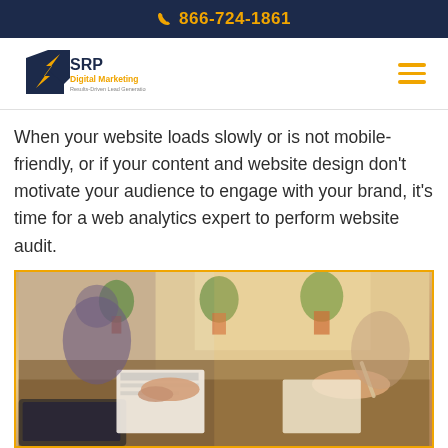866-724-1861
[Figure (logo): SRP Digital Marketing logo with tagline Results-Driven Lead Generation]
When your website loads slowly or is not mobile-friendly, or if your content and website design don't motivate your audience to engage with your brand, it's time for a web analytics expert to perform website audit.
[Figure (photo): Two people at a desk reviewing documents and writing, with a laptop and potted plants in the background, warm sunlit office environment]